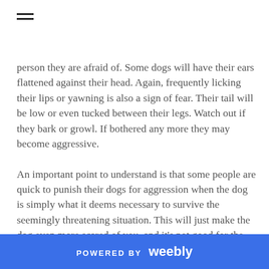[Figure (other): Hamburger menu icon with two horizontal lines]
person they are afraid of. Some dogs will have their ears flattened against their head. Again, frequently licking their lips or yawning is also a sign of fear. Their tail will be low or even tucked between their legs. Watch out if they bark or growl. If bothered any more they may become aggressive. An important point to understand is that some people are quick to punish their dogs for aggression when the dog is simply what it deems necessary to survive the seemingly threatening situation. This will just make the dog even more scared of you, and it's not good for the dog and owner relationship to have that kind of negative association, where the dog fears the owner.
POWERED BY weebly